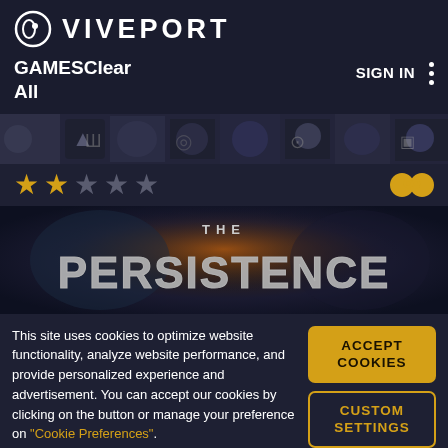VIVEPORT
GAMESClear All    SIGN IN
[Figure (screenshot): Horizontal banner strip showing dark sci-fi game icons/characters]
[Figure (other): Star rating: 2 filled stars, 3 empty stars, with infinity symbol on right]
[Figure (screenshot): Game banner for 'THE PERSISTENCE' with sci-fi styled metallic text on dark background]
This site uses cookies to optimize website functionality, analyze website performance, and provide personalized experience and advertisement. You can accept our cookies by clicking on the button or manage your preference on "Cookie Preferences".
ACCEPT COOKIES
CUSTOM SETTINGS